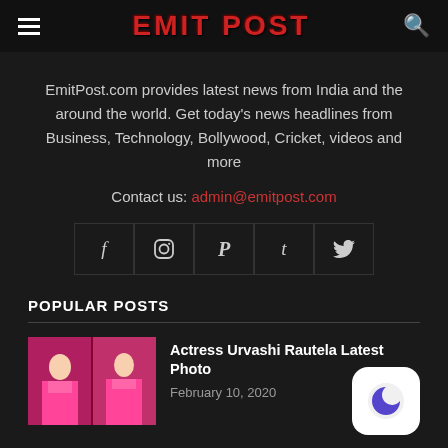EMIT POST
EmitPost.com provides latest news from India and the around the world. Get today's news headlines from Business, Technology, Bollywood, Cricket, videos and more
Contact us: admin@emitpost.com
[Figure (other): Social media icons row: Facebook, Instagram, Pinterest, Tumblr, Twitter]
POPULAR POSTS
[Figure (photo): Actress Urvashi Rautela in pink bikini, two photos side by side]
Actress Urvashi Rautela Latest Photo
February 10, 2020